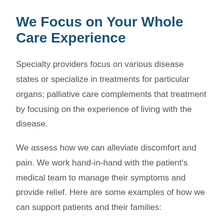We Focus on Your Whole Care Experience
Specialty providers focus on various disease states or specialize in treatments for particular organs; palliative care complements that treatment by focusing on the experience of living with the disease.
We assess how we can alleviate discomfort and pain. We work hand-in-hand with the patient's medical team to manage their symptoms and provide relief. Here are some examples of how we can support patients and their families: